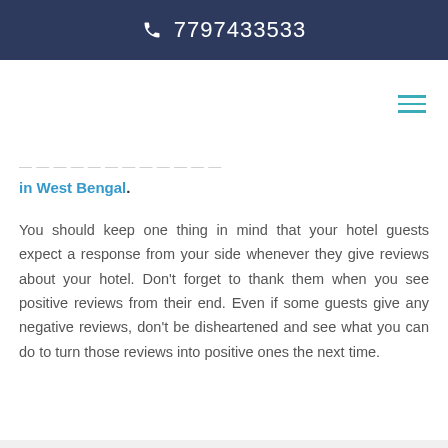📞 7797433533
in West Bengal.
You should keep one thing in mind that your hotel guests expect a response from your side whenever they give reviews about your hotel. Don't forget to thank them when you see positive reviews from their end. Even if some guests give any negative reviews, don't be disheartened and see what you can do to turn those reviews into positive ones the next time.